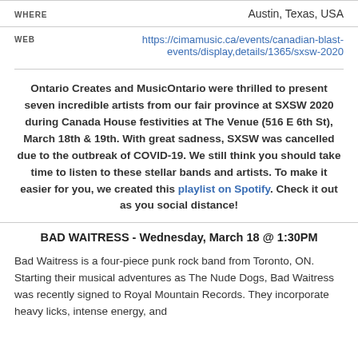| WHERE | Austin, Texas, USA |
| WEB | https://cimamusic.ca/events/canadian-blast-events/display,details/1365/sxsw-2020 |
Ontario Creates and MusicOntario were thrilled to present seven incredible artists from our fair province at SXSW 2020 during Canada House festivities at The Venue (516 E 6th St), March 18th & 19th. With great sadness, SXSW was cancelled due to the outbreak of COVID-19. We still think you should take time to listen to these stellar bands and artists. To make it easier for you, we created this playlist on Spotify. Check it out as you social distance!
BAD WAITRESS - Wednesday, March 18 @ 1:30PM
Bad Waitress is a four-piece punk rock band from Toronto, ON. Starting their musical adventures as The Nude Dogs, Bad Waitress was recently signed to Royal Mountain Records. They incorporate heavy licks, intense energy, and